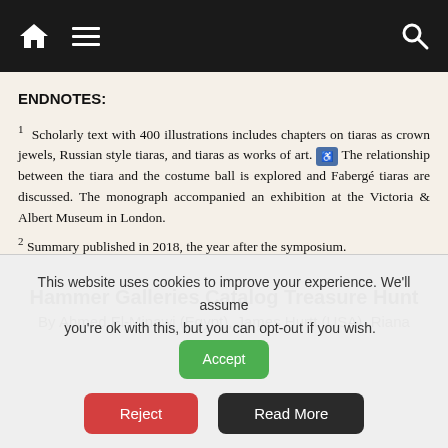Navigation bar with home, menu, and search icons
ENDNOTES:
1 Scholarly text with 400 illustrations includes chapters on tiaras as crown jewels, Russian style tiaras, and tiaras as works of art. The relationship between the tiara and the costume ball is explored and Fabergé tiaras are discussed. The monograph accompanied an exhibition at the Victoria & Albert Museum in London.
2 Summary published in 2018, the year after the symposium.
Hammer Galleries Catalog Treasure Hunt
By Ahmed El-Minawi (Egypt), James Hurtt (USA), Riana
This website uses cookies to improve your experience. We'll assume you're ok with this, but you can opt-out if you wish.
Accept | Reject | Read More